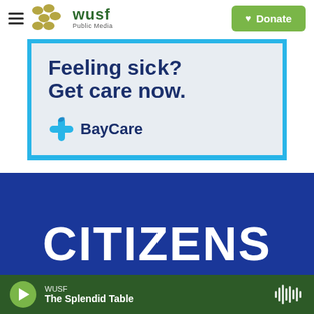[Figure (screenshot): WUSF Public Media website header with hamburger menu, WUSF logo with dots, and green Donate button with heart icon]
[Figure (screenshot): BayCare advertisement with teal border on light blue-gray background. Text reads 'Feeling sick? Get care now.' with BayCare logo (blue cross/plus icon and BayCare text)]
[Figure (screenshot): Dark blue banner partially showing the word CITIZENS in large white bold uppercase letters]
[Figure (screenshot): Dark green audio player bar at bottom showing WUSF, The Splendid Table, green play button, and waveform icon]